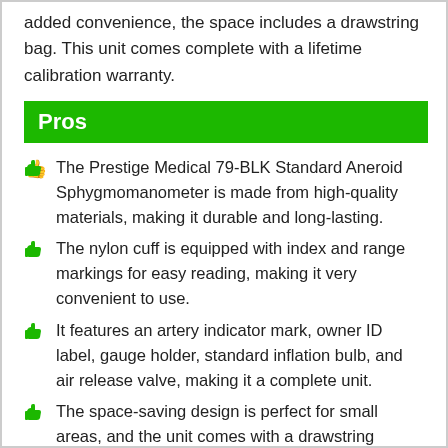added convenience, the space includes a drawstring bag. This unit comes complete with a lifetime calibration warranty.
Pros
The Prestige Medical 79-BLK Standard Aneroid Sphygmomanometer is made from high-quality materials, making it durable and long-lasting.
The nylon cuff is equipped with index and range markings for easy reading, making it very convenient to use.
It features an artery indicator mark, owner ID label, gauge holder, standard inflation bulb, and air release valve, making it a complete unit.
The space-saving design is perfect for small areas, and the unit comes with a drawstring